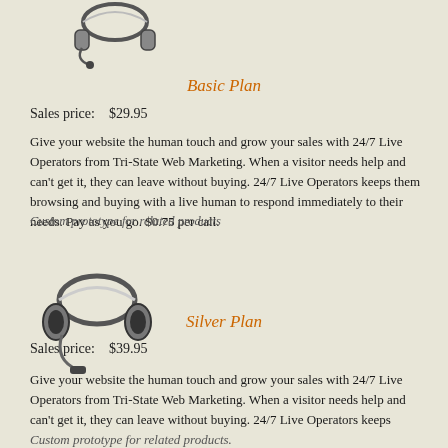[Figure (illustration): Headset/headphones icon for Basic Plan]
Basic Plan
Sales price:    $29.95
Give your website the human touch and grow your sales with 24/7 Live Operators from Tri-State Web Marketing. When a visitor needs help and can't get it, they can leave without buying. 24/7 Live Operators keeps them browsing and buying with a live human to respond immediately to their needs. Pay as you go. $0.75 per call.
Custom prototype for related products
[Figure (illustration): Headset/headphones icon for Silver Plan]
Silver Plan
Sales price:    $39.95
Give your website the human touch and grow your sales with 24/7 Live Operators from Tri-State Web Marketing. When a visitor needs help and can't get it, they can leave without buying. 24/7 Live Operators keeps Custom prototype for related products.